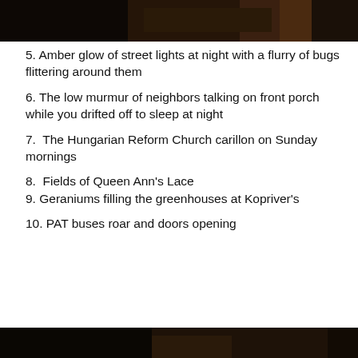[Figure (photo): Dark photograph, partially visible at top of page]
5. Amber glow of street lights at night with a flurry of bugs flittering around them
6. The low murmur of neighbors talking on front porch while you drifted off to sleep at night
7.  The Hungarian Reform Church carillon on Sunday mornings
8.  Fields of Queen Ann's Lace
9. Geraniums filling the greenhouses at Kopriver's
10. PAT buses roar and doors opening
[Figure (photo): Dark photograph, partially visible at bottom of page]